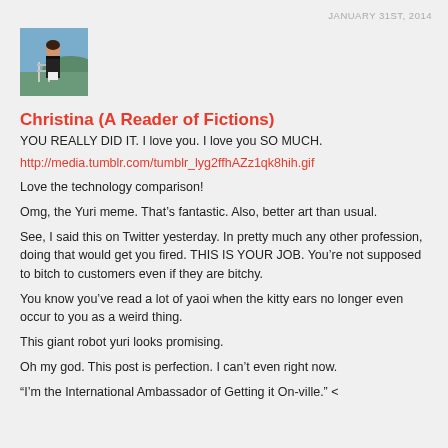JANUARY 31ST, 2014
[Figure (photo): Profile photo of a person standing outdoors near a railing with water and hills in the background.]
Christina (A Reader of Fictions)
YOU REALLY DID IT. I love you. I love you SO MUCH.
http://media.tumblr.com/tumblr_lyg2ffhAZz1qk8hih.gif
Love the technology comparison!
Omg, the Yuri meme. That’s fantastic. Also, better art than usual.
See, I said this on Twitter yesterday. In pretty much any other profession, doing that would get you fired. THIS IS YOUR JOB. You’re not supposed to bitch to customers even if they are bitchy.
You know you’ve read a lot of yaoi when the kitty ears no longer even occur to you as a weird thing.
This giant robot yuri looks promising.
Oh my god. This post is perfection. I can’t even right now.
“I’m the International Ambassador of Getting it On-ville.” <